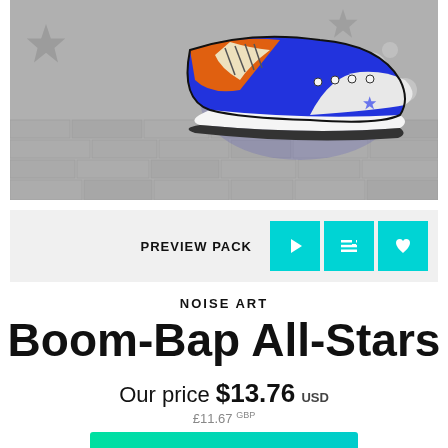[Figure (illustration): Artistic illustration of colorful sneakers (blue and orange Converse-style shoes) against a grayscale brick wall background with stars]
PREVIEW PACK
NOISE ART
Boom-Bap All-Stars
Our price $13.76 USD
£11.67 GBP